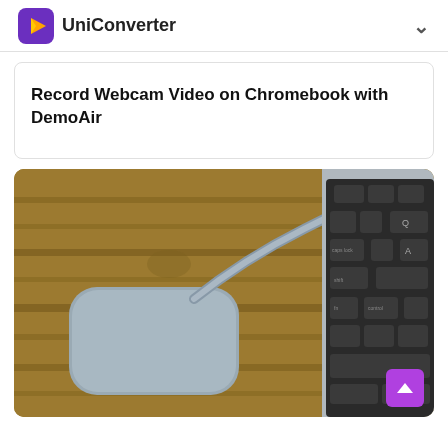UniConverter
Record Webcam Video on Chromebook with DemoAir
[Figure (photo): A gray USB hub/dongle connected via cable to a MacBook laptop, placed on a wooden surface. The right side shows the MacBook keyboard closeup.]